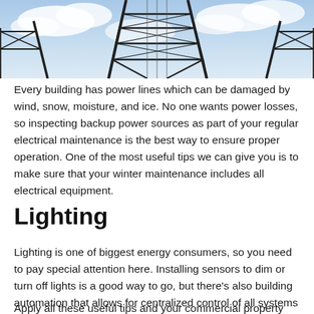[Figure (photo): A steel electrical transmission tower with metal lattice structure against a blue sky with clouds.]
Every building has power lines which can be damaged by wind, snow, moisture, and ice. No one wants power losses, so inspecting backup power sources as part of your regular electrical maintenance is the best way to ensure proper operation. One of the most useful tips we can give you is to make sure that your winter maintenance includes all electrical equipment.
Lighting
Lighting is one of biggest energy consumers, so you need to pay special attention here. Installing sensors to dim or turn off lights is a good way to go, but there's also building automation that allows for centralized control of all systems such as ventilation, heating, cooling, lighting, and so on.
Apply all these useful tips and your commercial property